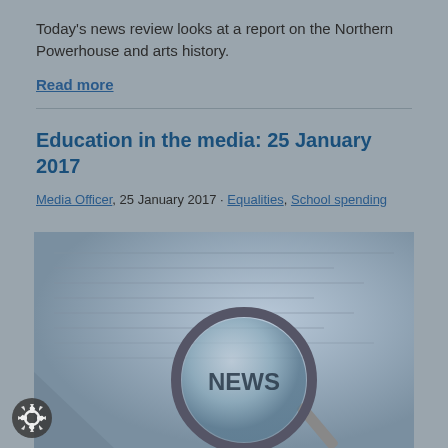Today's news review looks at a report on the Northern Powerhouse and arts history.
Read more
Education in the media: 25 January 2017
Media Officer, 25 January 2017 · Equalities, School spending
[Figure (photo): A magnifying glass resting on newspaper pages with the word NEWS visible through the lens, blue-toned photograph]